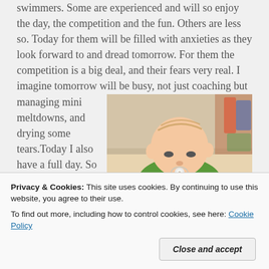swimmers. Some are experienced and will so enjoy the day, the competition and the fun. Others are less so. Today for them will be filled with anxieties as they look forward to and dread tomorrow. For them the competition is a big deal, and their fears very real. I imagine tomorrow will be busy, not just coaching but managing mini meltdowns, and drying some tears.Today I also have a full day. So all
[Figure (photo): A baby with a pacifier in its mouth, wearing a green and black jacket, looking down at something. The background is slightly blurred and colorful.]
Privacy & Cookies: This site uses cookies. By continuing to use this website, you agree to their use.
To find out more, including how to control cookies, see here: Cookie Policy